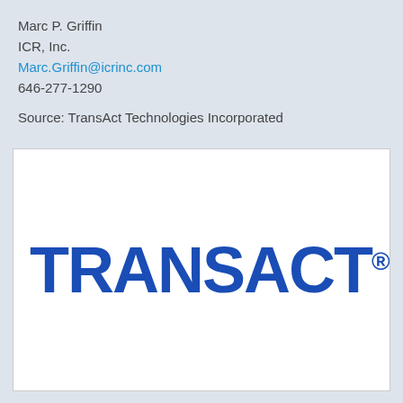Marc P. Griffin
ICR, Inc.
Marc.Griffin@icrinc.com
646-277-1290
Source: TransAct Technologies Incorporated
[Figure (logo): TransAct Technologies Incorporated logo — large blue bold text reading TRANSACT with a registered trademark symbol]